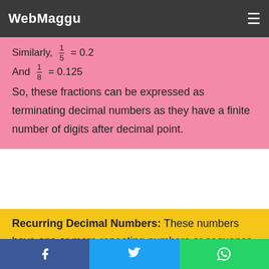WebMaggu
So, these fractions can be expressed as terminating decimal numbers as they have a finite number of digits after decimal point.
Recurring Decimal Numbers: These numbers have one or more repeating numbers or sequence of numbers after the decimal point, which continue infinitely.